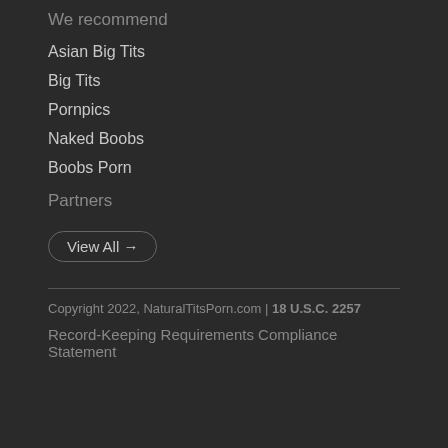We recommend
Asian Big Tits
Big Tits
Pornpics
Naked Boobs
Boobs Porn
Partners
View All →
Copyright 2022, NaturalTitsPorn.com | 18 U.S.C. 2257
Record-Keeping Requirements Compliance Statement